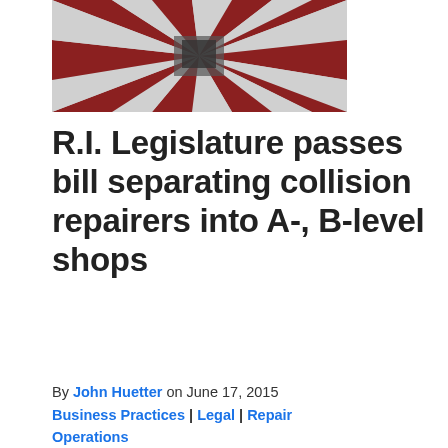[Figure (photo): Aerial or close-up view of a geometric patterned plaza or outdoor surface with red/maroon and white/gray striped radial pattern]
R.I. Legislature passes bill separating collision repairers into A-, B-level shops
By John Huetter on June 17, 2015
Business Practices | Legal | Repair Operations
Share This:
A bill creating two levels of collision repairers and requiring the top tier to have OEM steel and aluminum certification has passed the Rhode